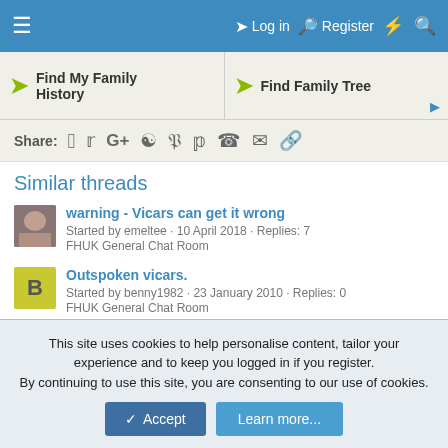≡  Log in  Register  ⚡  🔍
[Figure (screenshot): Ad banner with two links: 'Find My Family History' and 'Find Family Tree' with green arrow chevrons]
Share: (social icons: Facebook, Twitter, Google+, Reddit, Pinterest, Tumblr, WhatsApp, Email, Link)
Similar threads
warning - Vicars can get it wrong
Started by emeltee · 10 April 2018 · Replies: 7
FHUK General Chat Room
Outspoken vicars.
Started by benny1982 · 23 January 2010 · Replies: 0
FHUK General Chat Room
This site uses cookies to help personalise content, tailor your experience and to keep you logged in if you register.
By continuing to use this site, you are consenting to our use of cookies.